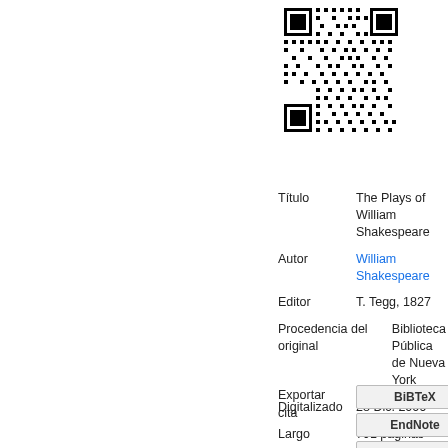[Figure (other): QR code image in upper right area]
| Label | Value |
| --- | --- |
| Título | The Plays of William Shakespeare |
| Autor | William Shakespeare |
| Editor | T. Tegg, 1827 |
| Procedencia del original | Biblioteca Pública de Nueva York |
| Digitalizado | 28 Dic. 2006 |
| Largo | 791 páginas |
Exportar cita
BiBTeX
EndNote
RefMan